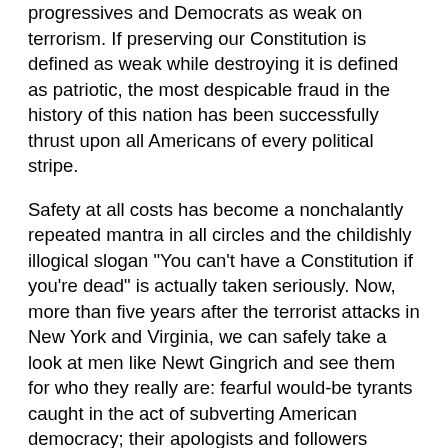progressives and Democrats as weak on terrorism. If preserving our Constitution is defined as weak while destroying it is defined as patriotic, the most despicable fraud in the history of this nation has been successfully thrust upon all Americans of every political stripe.
Safety at all costs has become a nonchalantly repeated mantra in all circles and the childishly illogical slogan "You can't have a Constitution if you're dead" is actually taken seriously. Now, more than five years after the terrorist attacks in New York and Virginia, we can safely take a look at men like Newt Gingrich and see them for who they really are: fearful would-be tyrants caught in the act of subverting American democracy; their apologists and followers enabling them to tear off long strips of the Constitution -- haphazardly fashioning the pieces into some kind of pathetic safety cocoon.
Think about that for a minute. It's not just